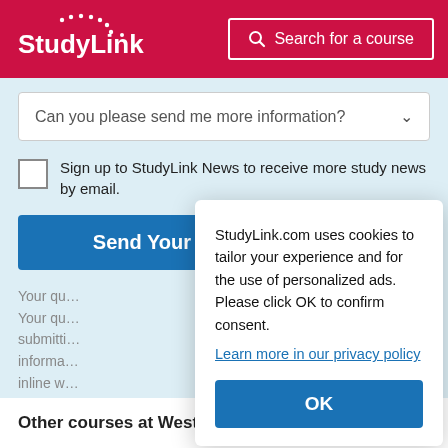StudyLink | Search for a course
Can you please send me more information?
Sign up to StudyLink News to receive more study news by email.
Send Your Question
StudyLink.com uses cookies to tailor your experience and for the use of personalized ads. Please click OK to confirm consent. Learn more in our privacy policy
OK
Other courses at Western Sydney University